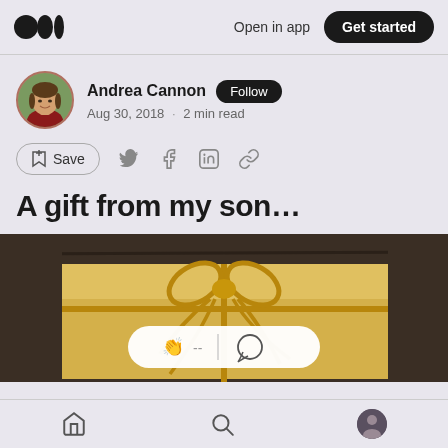Medium logo | Open in app | Get started
Andrea Cannon · Follow · Aug 30, 2018 · 2 min read
Save (bookmark icon) | Twitter | Facebook | LinkedIn | Link
A gift from my son...
[Figure (photo): A wrapped yellow/gold gift box with gold twine bow on a dark wooden surface, with a floating engagement/reaction bar overlay showing clap and comment icons]
Home | Search | Profile (bottom navigation bar)